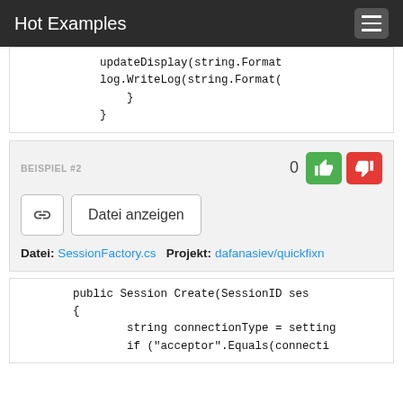Hot Examples
updateDisplay(string.Format
log.WriteLog(string.Format(
        }
    }
BEISPIEL #2
Datei anzeigen
Datei: SessionFactory.cs   Projekt: dafanasiev/quickfixn
public Session Create(SessionID ses
{
    string connectionType = setting
    if ("acceptor".Equals(connecti